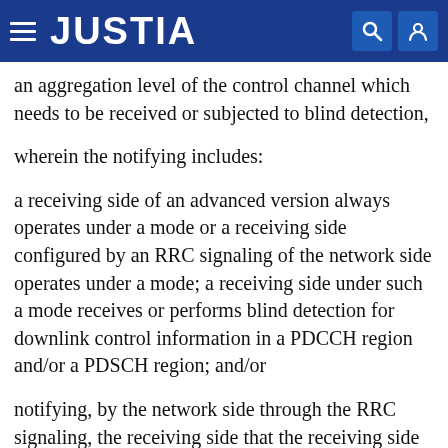JUSTIA
an aggregation level of the control channel which needs to be received or subjected to blind detection,
wherein the notifying includes:
a receiving side of an advanced version always operates under a mode or a receiving side configured by an RRC signaling of the network side operates under a mode; a receiving side under such a mode receives or performs blind detection for downlink control information in a PDCCH region and/or a PDSCH region; and/or
notifying, by the network side through the RRC signaling, the receiving side that the receiving side is needed to receive or perform blind detection for the downlink control information in the PDCCH region or receive or perform blind detection for the downlink control information in the PDSCH region; and/or